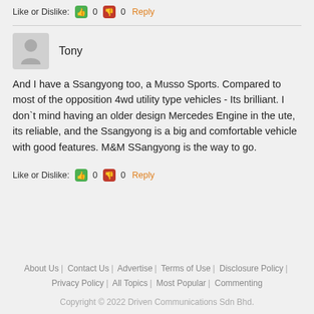Like or Dislike: 👍 0 👎 0 Reply
Tony
And I have a Ssangyong too, a Musso Sports. Compared to most of the opposition 4wd utility type vehicles - Its brilliant. I don`t mind having an older design Mercedes Engine in the ute, its reliable, and the Ssangyong is a big and comfortable vehicle with good features. M&M SSangyong is the way to go.
Like or Dislike: 👍 0 👎 0 Reply
About Us | Contact Us | Advertise | Terms of Use | Disclosure Policy | Privacy Policy | All Topics | Most Popular | Commenting
Copyright © 2022 Driven Communications Sdn Bhd.